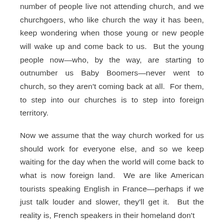number of people live not attending church, and we churchgoers, who like church the way it has been, keep wondering when those young or new people will wake up and come back to us. But the young people now—who, by the way, are starting to outnumber us Baby Boomers—never went to church, so they aren't coming back at all. For them, to step into our churches is to step into foreign territory.
Now we assume that the way church worked for us should work for everyone else, and so we keep waiting for the day when the world will come back to what is now foreign land. We are like American tourists speaking English in France—perhaps if we just talk louder and slower, they'll get it. But the reality is, French speakers in their homeland don't